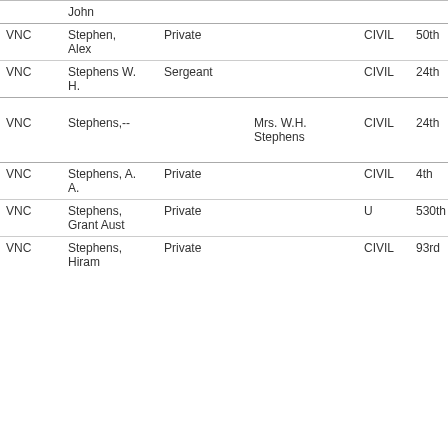|  | John |  |  |  |  |
| VNC | Stephen,
Alex | Private |  | CIVIL | 50th |
| VNC | Stephens W.
H. | Sergeant |  | CIVIL | 24th |
| VNC | Stephens,-- |  | Mrs. W.H.
Stephens | CIVIL | 24th |
| VNC | Stephens, A.
A. | Private |  | CIVIL | 4th |
| VNC | Stephens,
Grant Aust | Private |  | U | 530th |
| VNC | Stephens,
Hiram | Private |  | CIVIL | 93rd |